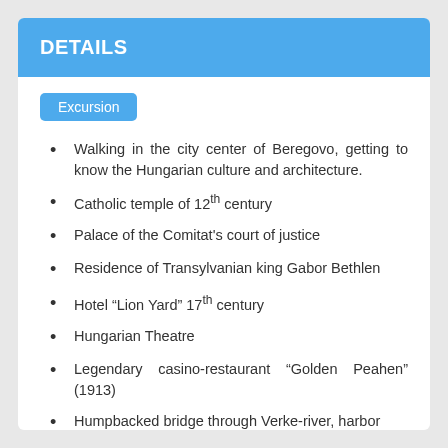DETAILS
Excursion
Walking in the city center of Beregovo, getting to know the Hungarian culture and architecture.
Catholic temple of 12th century
Palace of the Comitat's court of justice
Residence of Transylvanian king Gabor Bethlen
Hotel “Lion Yard” 17th century
Hungarian Theatre
Legendary casino-restaurant “Golden Peahen” (1913)
Humpbacked bridge through Verke-river, harbor